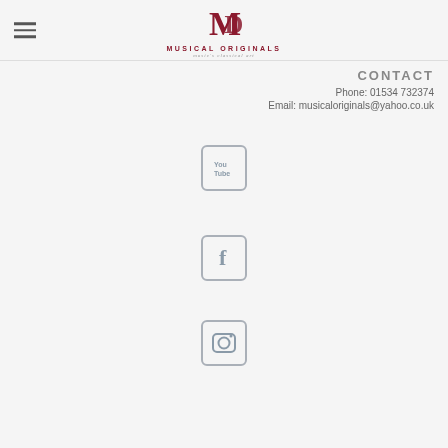[Figure (logo): Musical Originals logo with M and D monogram in dark red/maroon, text MUSICAL ORIGINALS below]
CONTACT
Phone: 01534 732374
Email: musicaloriginals@yahoo.co.uk
[Figure (logo): YouTube icon - rounded rectangle with You Tube text]
[Figure (logo): Facebook icon - rounded rectangle with f letter]
[Figure (logo): Instagram icon - rounded rectangle with camera icon]